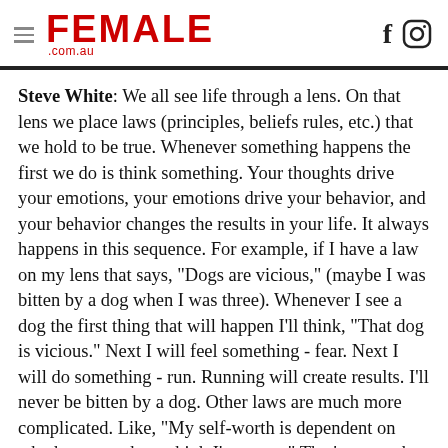FEMALE .com.au
Steve White: We all see life through a lens. On that lens we place laws (principles, beliefs rules, etc.) that we hold to be true. Whenever something happens the first we do is think something. Your thoughts drive your emotions, your emotions drive your behavior, and your behavior changes the results in your life. It always happens in this sequence. For example, if I have a law on my lens that says, "Dogs are vicious," (maybe I was bitten by a dog when I was three). Whenever I see a dog the first thing that will happen I'll think, "That dog is vicious." Next I will feel something - fear. Next I will do something - run. Running will create results. I'll never be bitten by a dog. Other laws are much more complicated. Like, "My self-worth is dependent on whether or not boys think I'm pretty." That's not such a healthy law and worthy of change. In the book there is a diagram of this process on how